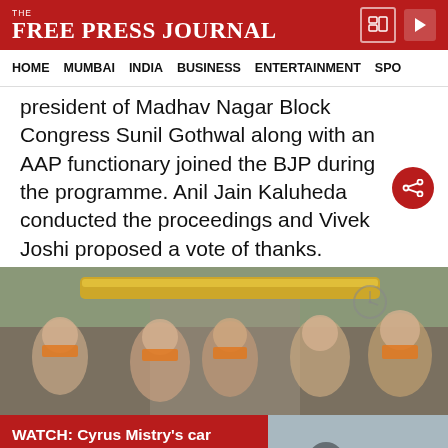FREE PRESS JOURNAL
HOME  MUMBAI  INDIA  BUSINESS  ENTERTAINMENT  SPO
president of Madhav Nagar Block Congress Sunil Gothwal along with an AAP functionary joined the BJP during the programme. Anil Jain Kaluheda conducted the proceedings and Vivek Joshi proposed a vote of thanks.
[Figure (photo): Group of men wearing orange scarves participating in a religious ceremony at a temple]
WATCH: Cyrus Mistry's car captured on CCTV moments before crash
[Figure (photo): Crashed car from Cyrus Mistry accident captured on CCTV]